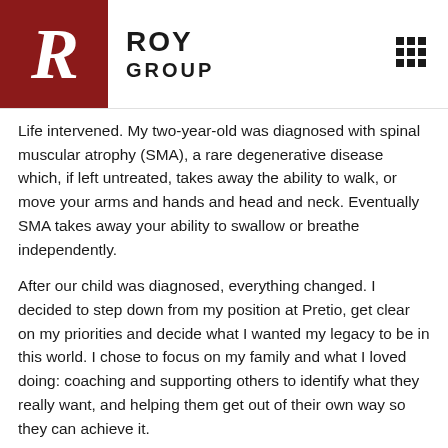ROY GROUP
Life intervened. My two-year-old was diagnosed with spinal muscular atrophy (SMA), a rare degenerative disease which, if left untreated, takes away the ability to walk, or move your arms and hands and head and neck. Eventually SMA takes away your ability to swallow or breathe independently.
After our child was diagnosed, everything changed. I decided to step down from my position at Pretio, get clear on my priorities and decide what I wanted my legacy to be in this world. I chose to focus on my family and what I loved doing: coaching and supporting others to identify what they really want, and helping them get out of their own way so they can achieve it.
So working with Roy Group is a